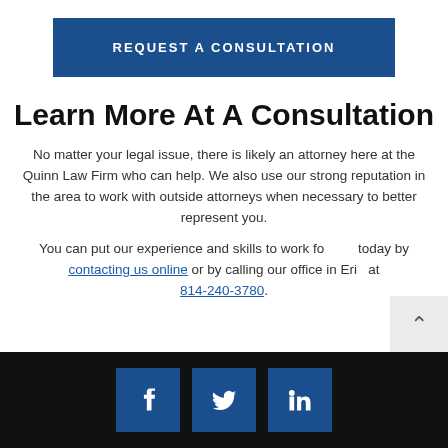[Figure (other): REQUEST A CONSULTATION button — dark blue rectangle with white uppercase text]
Learn More At A Consultation
No matter your legal issue, there is likely an attorney here at the Quinn Law Firm who can help. We also use our strong reputation in the area to work with outside attorneys when necessary to better represent you.
You can put our experience and skills to work for you today by contacting us online or by calling our office in Erie at 814-240-3780.
[Figure (other): Footer with dark background and three social media icons: Facebook (f), Twitter (bird), LinkedIn (in) — each in a dark blue square]